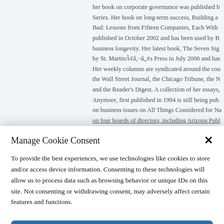her book on corporate governance was published b... Series. Her book on long-term success, Building a Bad: Lessons from Fifteen Companies, Each With published in October 2002 and has been used by B business longevity. Her latest book, The Seven Sig by St. MartinÃ¢â,¬â,,¢s Press in July 2006 and has Her weekly columns are syndicated around the cou the Wall Street Journal, the Chicago Tribune, the N and the Reader's Digest. A collection of her essays, Anymore, first published in 1994 is still being pub on business issues on All Things Considered for Na on four boards of directors, including Arizona Publ
Manage Cookie Consent
To provide the best experiences, we use technologies like cookies to store and/or access device information. Consenting to these technologies will allow us to process data such as browsing behavior or unique IDs on this site. Not consenting or withdrawing consent, may adversely affect certain features and functions.
Accept